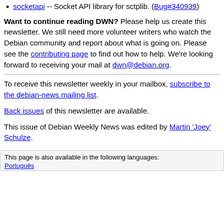socketapi -- Socket API library for sctplib. (Bug#340939)
Want to continue reading DWN? Please help us create this newsletter. We still need more volunteer writers who watch the Debian community and report about what is going on. Please see the contributing page to find out how to help. We're looking forward to receiving your mail at dwn@debian.org.
To receive this newsletter weekly in your mailbox, subscribe to the debian-news mailing list.
Back issues of this newsletter are available.
This issue of Debian Weekly News was edited by Martin 'Joey' Schulze.
This page is also available in the following languages: